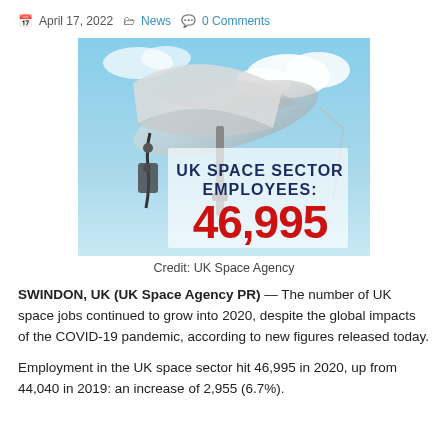April 17, 2022  News  0 Comments
[Figure (photo): Satellite dish pointing upward against a blue sky with clouds. Overlaid text reads 'UK SPACE SECTOR EMPLOYEES: 46,995' in bold dark blue and red lettering.]
Credit: UK Space Agency
SWINDON, UK (UK Space Agency PR) — The number of UK space jobs continued to grow into 2020, despite the global impacts of the COVID-19 pandemic, according to new figures released today.
Employment in the UK space sector hit 46,995 in 2020, up from 44,040 in 2019: an increase of 2,955 (6.7%).